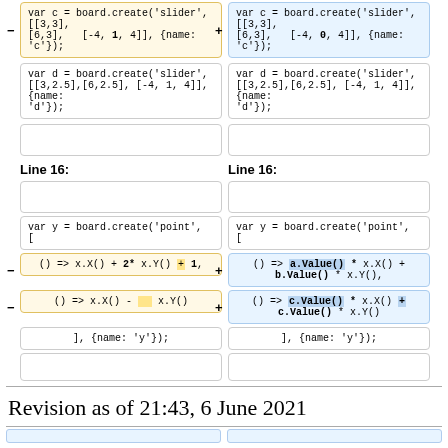var c = board.create('slider', [[3,3],[6,3], [-4, 1, 4]], {name: 'c'});
var c = board.create('slider', [[3,3],[6,3], [-4, 0, 4]], {name: 'c'});
var d = board.create('slider', [[3,2.5],[6,2.5], [-4, 1, 4]], {name: 'd'});
var d = board.create('slider', [[3,2.5],[6,2.5], [-4, 1, 4]], {name: 'd'});
Line 16:
Line 16:
var y = board.create('point', [
var y = board.create('point', [
() => x.X() + 2* x.Y() + 1,
() => a.Value() * x.X() + b.Value() * x.Y(),
() => x.X() -    x.Y()
() => c.Value() * x.X() + c.Value() * x.Y()
], {name: 'y'});
], {name: 'y'});
Revision as of 21:43, 6 June 2021